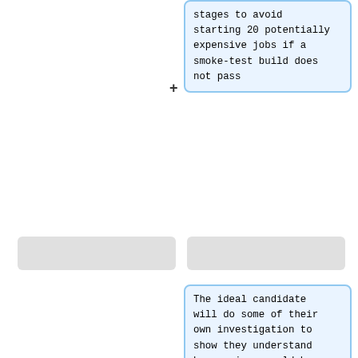...of pipeline stages to avoid starting 20 potentially expensive jobs if a smoke-test build does not pass
The ideal candidate will do some of their own investigation to show they understand how savings could be made, rather than just sticking to this list.
Explore supporting the LANMAN SNMP MIB included with Windows server
operating systems in